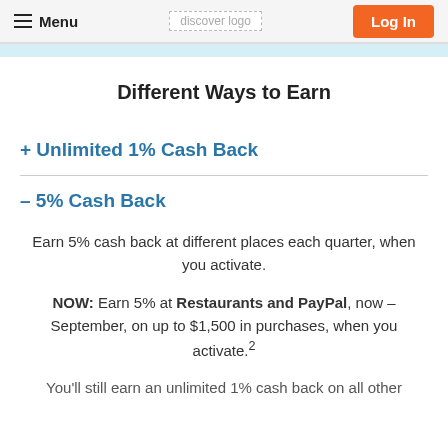Menu | discover logo | Log In
Different Ways to Earn
+ Unlimited 1% Cash Back
– 5% Cash Back
Earn 5% cash back at different places each quarter, when you activate.
NOW: Earn 5% at Restaurants and PayPal, now – September, on up to $1,500 in purchases, when you activate.²
You'll still earn an unlimited 1% cash back on all other